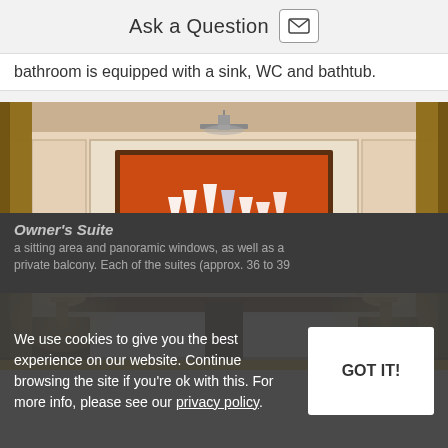Ask a Question
bathroom is equipped with a sink, WC and bathtub.
[Figure (photo): Hotel room with a double bed with white pillows, two bedside lamps, dark wood headboard, and a framed painting of sailboats on the wall above the bed, illuminated by warm lighting.]
Owner's Suite
We use cookies to give you the best experience on our website. Continue browsing the site if you're ok with this. For more info, please see our privacy policy.
a sitting area and panoramic windows, as well as a private balcony. Each of the suites (approx. 36 to 39